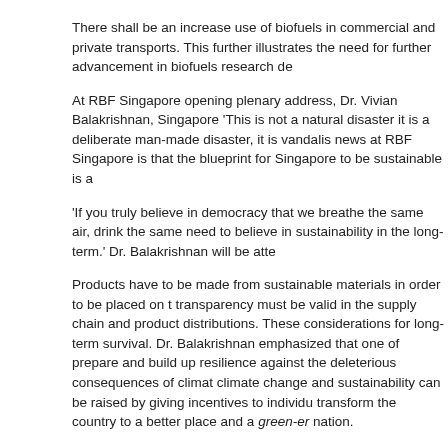There shall be an increase use of biofuels in commercial and private transports. This further illustrates the need for further advancement in biofuels research de
At RBF Singapore opening plenary address, Dr. Vivian Balakrishnan, Singapore 'This is not a natural disaster it is a deliberate man-made disaster, it is vandalis news at RBF Singapore is that the blueprint for Singapore to be sustainable is a
'If you truly believe in democracy that we breathe the same air, drink the same need to believe in sustainability in the long-term.' Dr. Balakrishnan will be atte
Products have to be made from sustainable materials in order to be placed on t transparency must be valid in the supply chain and product distributions. These considerations for long-term survival. Dr. Balakrishnan emphasized that one of prepare and build up resilience against the deleterious consequences of climat climate change and sustainability can be raised by giving incentives to individu transform the country to a better place and a green-er nation.
'Sustainability efforts cannot be unilateral,' as mentioned by Dr. Balakrishnan at
Who should cut the 'Cake'?
Brought forward by industrial revolution, developed nations enjoy access to adv accessibilities to remote regions in their respective cities and towns, better foo regulations of Good Manufacturing Practices, etc. However, it is not practical a emitters to slash carbon emissions and greenhouse gases to absolute zero wh